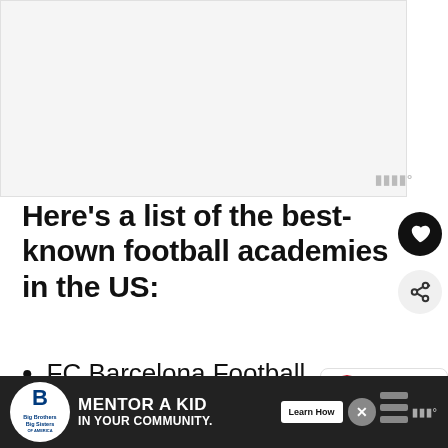[Figure (photo): Blank/placeholder image area at top of article page]
Here’s a list of the best-known football academies in the US:
FC Barcelona Football Academy
[Figure (infographic): What's Next panel: Soccer In Spain... with Spanish flag thumbnail]
[Figure (infographic): Bottom advertisement bar: Big Brothers Big Sisters - MENTOR A KID IN YOUR COMMUNITY. Learn How]